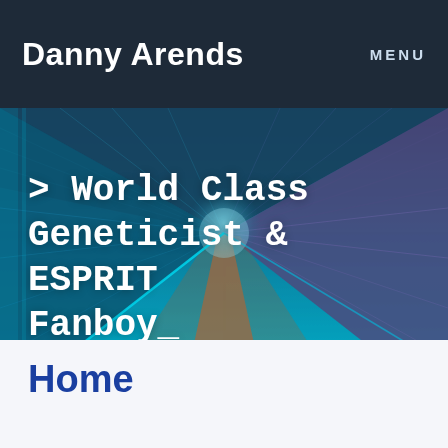Danny Arends   MENU
[Figure (photo): A futuristic blue-lit tunnel corridor with perspective lines converging to a vanishing point, used as a hero background image.]
> World Class Geneticist & ESPRIT Fanboy_
Home